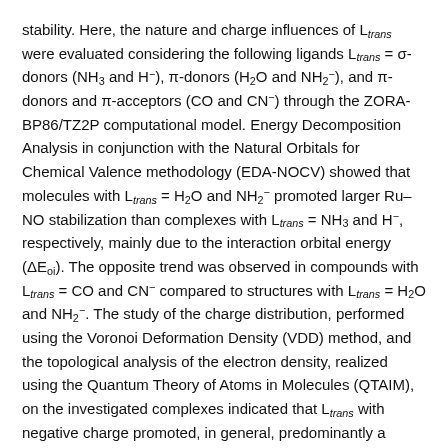stability. Here, the nature and charge influences of L_trans were evaluated considering the following ligands L_trans = σ-donors (NH3 and H⁻), π-donors (H2O and NH2⁻), and π-donors and π-acceptors (CO and CN⁻) through the ZORA-BP86/TZ2P computational model. Energy Decomposition Analysis in conjunction with the Natural Orbitals for Chemical Valence methodology (EDA-NOCV) showed that molecules with L_trans = H2O and NH2⁻ promoted larger Ru–NO stabilization than complexes with L_trans = NH3 and H⁻, respectively, mainly due to the interaction orbital energy (ΔE_oi). The opposite trend was observed in compounds with L_trans = CO and CN⁻ compared to structures with L_trans = H2O and NH2⁻. The study of the charge distribution, performed using the Voronoi Deformation Density (VDD) method, and the topological analysis of the electron density, realized using the Quantum Theory of Atoms in Molecules (QTAIM), on the investigated complexes indicated that L_trans with negative charge promoted, in general, predominantly a decrease of the electron flux in the L_trans(σ) → Ru(dσ*) ← NO(σ) process.